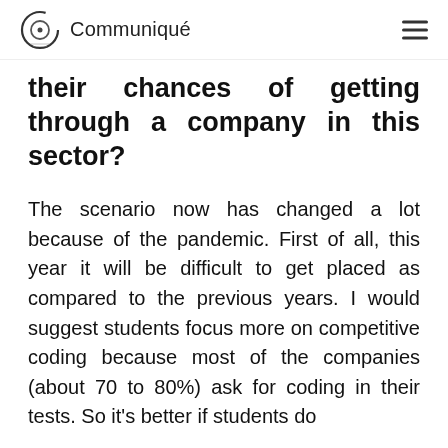Communiqué
their chances of getting through a company in this sector?
The scenario now has changed a lot because of the pandemic. First of all, this year it will be difficult to get placed as compared to the previous years. I would suggest students focus more on competitive coding because most of the companies (about 70 to 80%) ask for coding in their tests. So it's better if students do